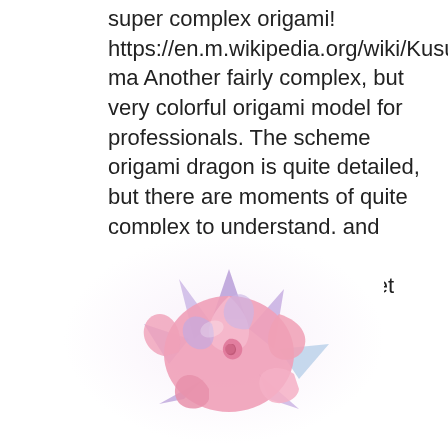super complex origami! https://en.m.wikipedia.org/wiki/Kusudama Another fairly complex, but very colorful origami model for professionals. The scheme origami dragon is quite detailed, but there are moments of quite complex to understand, and requires skill and creativity .. Success. Again, do not forget about the comments....
[Figure (photo): A colorful kusudama origami ball made of pink and purple/lavender paper folded into star-shaped petals, photographed on a white background.]